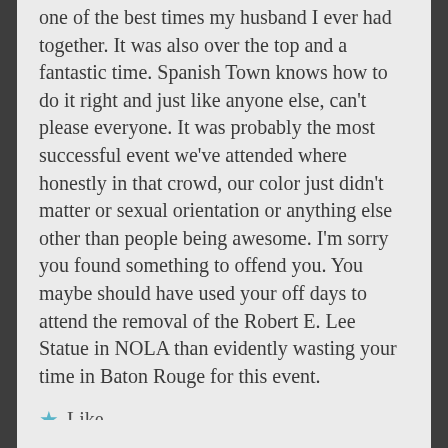one of the best times my husband I ever had together. It was also over the top and a fantastic time. Spanish Town knows how to do it right and just like anyone else, can't please everyone. It was probably the most successful event we've attended where honestly in that crowd, our color just didn't matter or sexual orientation or anything else other than people being awesome. I'm sorry you found something to offend you. You maybe should have used your off days to attend the removal of the Robert E. Lee Statue in NOLA than evidently wasting your time in Baton Rouge for this event.
Like